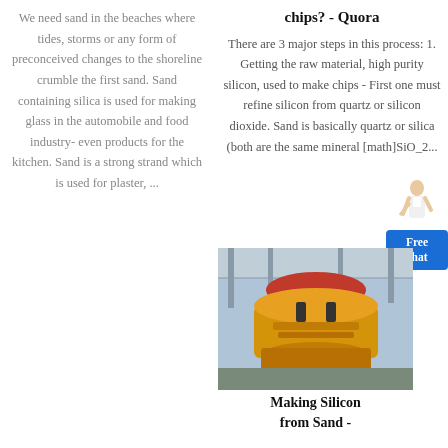We need sand in the beaches where tides, storms or any form of preconceived changes to the shoreline crumble the first sand. Sand containing silica is used for making glass in the automobile and food industry- even products for the kitchen. Sand is a strong strand which is used for plaster, ...
chips? - Quora
There are 3 major steps in this process: 1. Getting the raw material, high purity silicon, used to make chips - First one must refine silicon from quartz or silicon dioxide. Sand is basically quartz or silica (both are the same mineral [math]SiO_2...
[Figure (photo): Yellow heavy industrial cone crusher machine in a factory/warehouse setting]
Making Silicon from Sand -